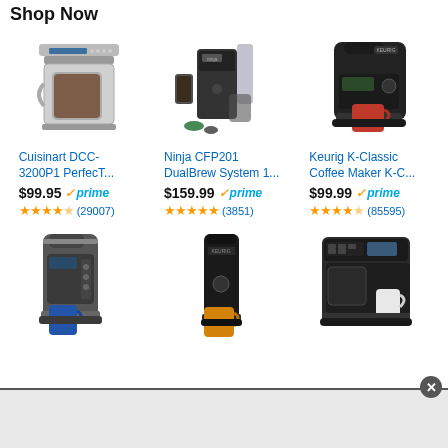Shop Now
[Figure (photo): Cuisinart DCC-3200P1 coffee maker product image]
[Figure (photo): Ninja CFP201 DualBrew System coffee maker product image]
[Figure (photo): Keurig K-Classic Coffee Maker product image]
Cuisinart DCC-3200P1 PerfecT...
$99.95 prime ★★★★½ (29007)
Ninja CFP201 DualBrew System 1...
$159.99 prime ★★★★★ (3851)
Keurig K-Classic Coffee Maker K-C...
$99.99 prime ★★★★½ (85595)
[Figure (photo): Keurig K-Select single serve coffee maker with blue mug]
[Figure (photo): Keurig K-Slim single serve coffee maker with orange mug]
[Figure (photo): Hamilton Beach FlexBrew coffee maker with white mug]